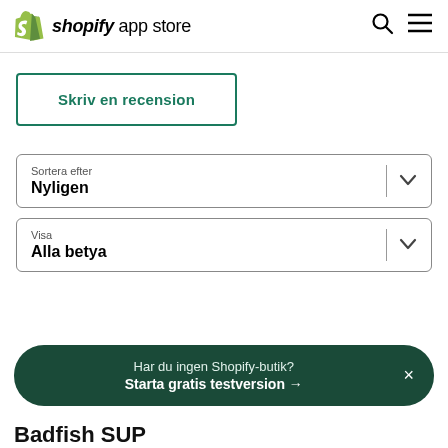shopify app store
Skriv en recension
Sortera efter
Nyligen
Visa
Alla betya
Har du ingen Shopify-butik? Starta gratis testversion →
Badfish SUP